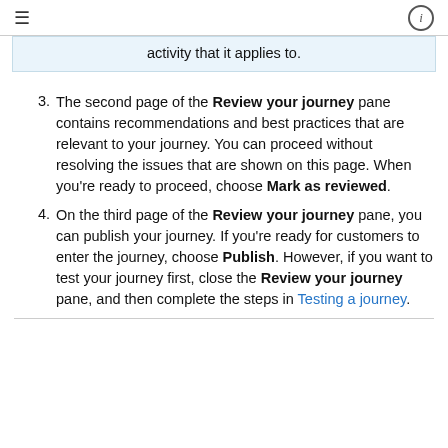≡  ⓘ
activity that it applies to.
The second page of the Review your journey pane contains recommendations and best practices that are relevant to your journey. You can proceed without resolving the issues that are shown on this page. When you're ready to proceed, choose Mark as reviewed.
On the third page of the Review your journey pane, you can publish your journey. If you're ready for customers to enter the journey, choose Publish. However, if you want to test your journey first, close the Review your journey pane, and then complete the steps in Testing a journey.